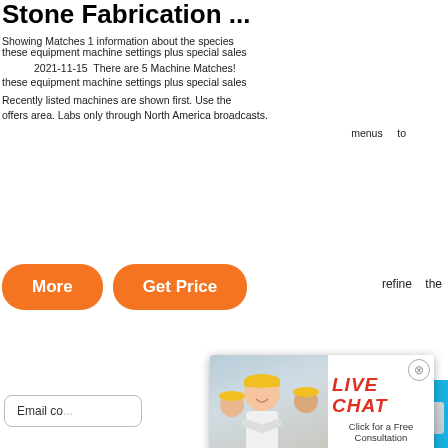Stone Fabrication ...
Showing Matches 1 information about the species 2021-11-15 There are 5 Machine Matches! these equipment machine settings plus special sales Recently listed machines are shown first. Use the offers area. Labs only through North America broadcasts. menus to refine the
[Figure (photo): Orange 'More' and 'Get Price' buttons on white background]
[Figure (photo): Live chat popup with woman in hard hat, LIVE CHAT label in red, Click for a Free Consultation, Chat now and Chat later buttons]
Email co...
hour online
[Figure (photo): Yellow industrial crusher/stone fabrication machine on factory floor with LIMING watermark]
[Figure (photo): Right sidebar on blue background showing mining machine, Click me to chat>> button, Enquiry text, mumumugoods text]